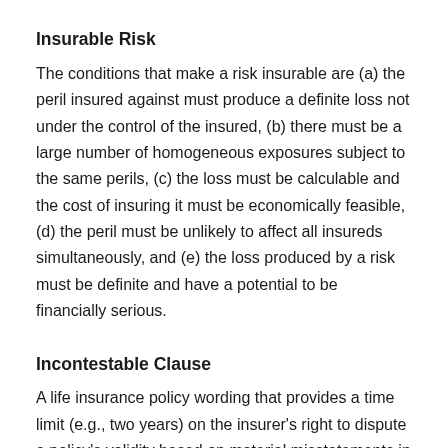Insurable Risk
The conditions that make a risk insurable are (a) the peril insured against must produce a definite loss not under the control of the insured, (b) there must be a large number of homogeneous exposures subject to the same perils, (c) the loss must be calculable and the cost of insuring it must be economically feasible, (d) the peril must be unlikely to affect all insureds simultaneously, and (e) the loss produced by a risk must be definite and have a potential to be financially serious.
Incontestable Clause
A life insurance policy wording that provides a time limit (e.g., two years) on the insurer's right to dispute a policy's validity based on material misstatements in the